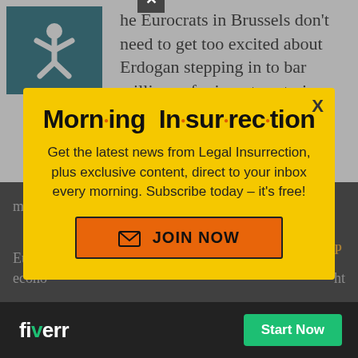he Eurocrats in Brussels don't need to get too excited about Erdogan stepping in to bar millions of migrants entering Europe. In return for Turkey's
[Figure (screenshot): Morning Insurrection email newsletter popup on a website. Yellow background popup with bold title 'Morning Insurrection', subtitle 'Get the latest news from Legal Insurrection, plus exclusive content, direct to your inbox every morning. Subscribe today – it's free!' and orange JOIN NOW button. Behind the popup is a dimmed article text about Eurocrats and Erdogan. At the bottom is a Fiverr advertisement bar with a green 'Start Now' button.]
media freedoms record.
Europ... econo... ht
Back to top